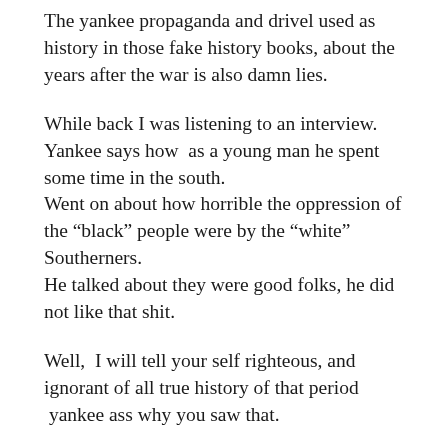The yankee propaganda and drivel used as history in those fake history books, about the years after the war is also damn lies.
While back I was listening to an interview. Yankee says how  as a young man he spent some time in the south.
Went on about how horrible the oppression of the “black” people were by the “white” Southerners.
He talked about they were good folks, he did not like that shit.
Well,  I will tell your self righteous, and ignorant of all true history of that period  yankee ass why you saw that.